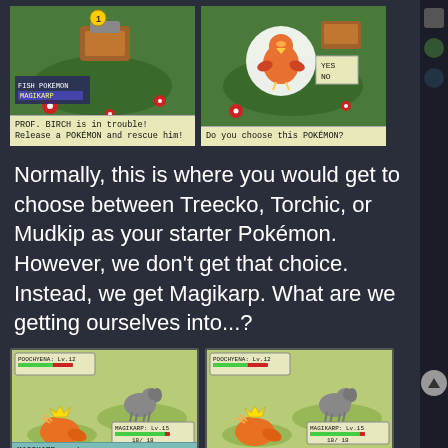[Figure (screenshot): Two Game Boy Advance screenshots side by side showing Pokemon Emerald. Left: a Magikarp labeled 'FISH POKEMON / MAGIKARP' with text box 'PROF. BIRCH is in trouble! Release a POKEMON and rescue him!' Right: A Torchic shown with a YES/NO dialog 'Do you choose this POKEMON?']
Normally, this is where you would get to choose between Treecko, Torchic, or Mudkip as your starter Pokémon. However, we don't get that choice. Instead, we get Magikarp. What are we getting ourselves into...?
[Figure (screenshot): Two Game Boy Advance battle screenshots side by side. Both show POOCHYENA vs MAGIKARP battle. Left screenshot: 'MAGIKARP used SPLASH'. Right screenshot: 'But nothing happened!']